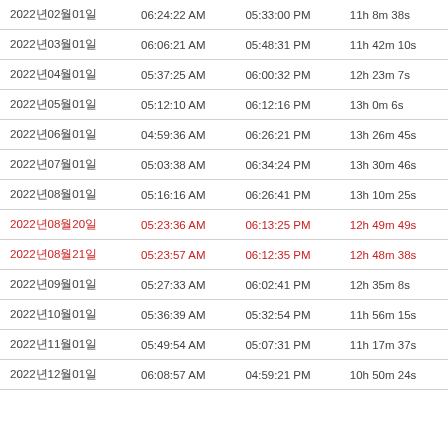| 2022년02월01일 | 06:24:22 AM | 05:33:00 PM | 11h 8m 38s |
| 2022년03월01일 | 06:06:21 AM | 05:48:31 PM | 11h 42m 10s |
| 2022년04월01일 | 05:37:25 AM | 06:00:32 PM | 12h 23m 7s |
| 2022년05월01일 | 05:12:10 AM | 06:12:16 PM | 13h 0m 6s |
| 2022년06월01일 | 04:59:36 AM | 06:26:21 PM | 13h 26m 45s |
| 2022년07월01일 | 05:03:38 AM | 06:34:24 PM | 13h 30m 46s |
| 2022년08월01일 | 05:16:16 AM | 06:26:41 PM | 13h 10m 25s |
| 2022년08월20일 | 05:23:36 AM | 06:13:25 PM | 12h 49m 49s |
| 2022년08월21일 | 05:23:57 AM | 06:12:35 PM | 12h 48m 38s |
| 2022년09월01일 | 05:27:33 AM | 06:02:41 PM | 12h 35m 8s |
| 2022년10월01일 | 05:36:39 AM | 05:32:54 PM | 11h 56m 15s |
| 2022년11월01일 | 05:49:54 AM | 05:07:31 PM | 11h 17m 37s |
| 2022년12월01일 | 06:08:57 AM | 04:59:21 PM | 10h 50m 24s |